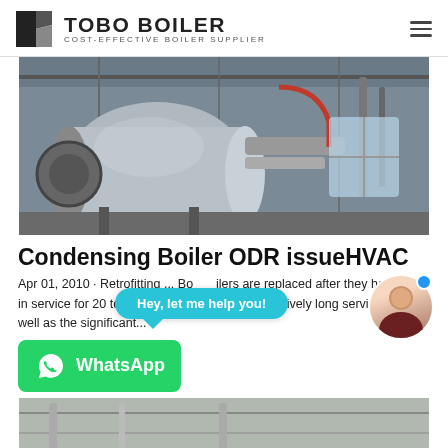TOBO BOILER — COST-EFFECTIVE BOILER SUPPLIER
[Figure (photo): Industrial boiler facility with a large cylindrical silver boiler tank, pipes, and steel structure inside a factory building.]
Condensing Boiler ODR issueHVAC
Apr 01, 2010 · Retrofitting ... Boilers are replaced after they have been in service for 20 to 30 years, or more. This relatively long service life, as well as the significant...
[Figure (screenshot): WhatsApp contact button (green) with WhatsApp icon and label 'WhatsApp'. Overlaid chat bubble says 'Hey, let me help you!' with avatar of a person.]
[Figure (photo): Interior ceiling/roof photo, partially visible at bottom of page.]